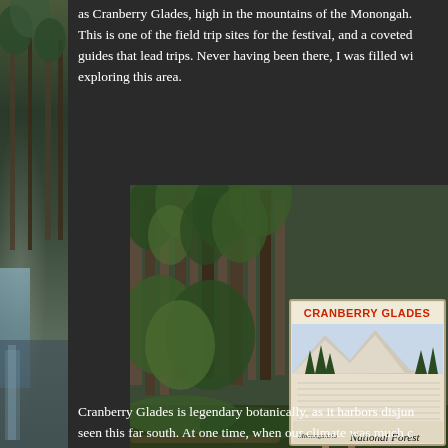as Cranberry Glades, high in the mountains of the Monongah. This is one of the field trip sites for the festival, and a coveted guides that lead trips. Never having been there, I was filled wi exploring this area.
[Figure (photo): Photo of Cranberry Glades sign at Monongahela National Forest, with forested background. The sign reads CRANBERRY GLADES at the top in red letters, features an illustration of mountains and trees, and displays text about the natural history of the area. At the bottom it reads Monongahela National Forest in italic script.]
Cranberry Glades is legendary botanically, as it harbors disjun seen this far south. At one time, when our climate was much c